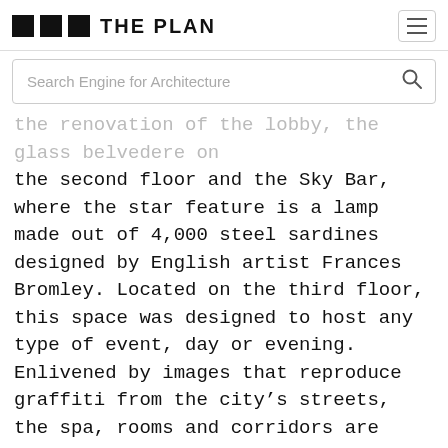THE PLAN
the renovation of the lobby, the glass belvedere on the second floor and the Sky Bar, where the star feature is a lamp made out of 4,000 steel sardines designed by English artist Frances Bromley. Located on the third floor, this space was designed to host any type of event, day or evening. Enlivened by images that reproduce graffiti from the city's streets, the spa, rooms and corridors are also the two Marseille-based architects' work.
Teresa Sapey + Partners designed the common areas on the ground floor, including the Cactus Bar, the Tunnel Bar, the restaurant, the terrace, and the hotel's meeting and event spaces. The